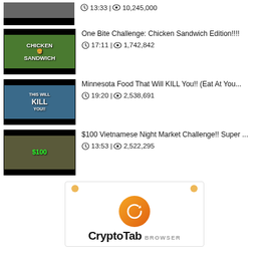[Figure (screenshot): Partial video thumbnail at top of page showing people and food]
🕐13:33 | 👁10,245,000
[Figure (screenshot): Video thumbnail for 'One Bite Challenge: Chicken Sandwich Edition!!!!' showing CHICKEN SANDWICH text with people]
One Bite Challenge: Chicken Sandwich Edition!!!!
🕐17:11 | 👁1,742,842
[Figure (screenshot): Video thumbnail for 'Minnesota Food That Will KILL You!! (Eat At You...' showing THIS WILL KILL YOU text]
Minnesota Food That Will KILL You!! (Eat At You...
🕐19:20 | 👁2,538,691
[Figure (screenshot): Video thumbnail for '$100 Vietnamese Night Market Challenge!! Super ...' showing $100 text]
$100 Vietnamese Night Market Challenge!! Super ...
🕐13:53 | 👁2,522,295
[Figure (logo): CryptoTab Browser advertisement with orange logo and brand name]